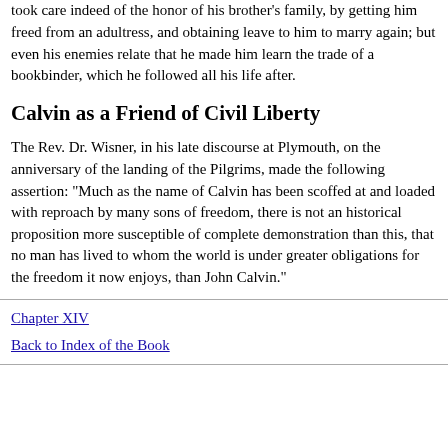took care indeed of the honor of his brother's family, by getting him freed from an adultress, and obtaining leave to him to marry again; but even his enemies relate that he made him learn the trade of a bookbinder, which he followed all his life after.
Calvin as a Friend of Civil Liberty
The Rev. Dr. Wisner, in his late discourse at Plymouth, on the anniversary of the landing of the Pilgrims, made the following assertion: "Much as the name of Calvin has been scoffed at and loaded with reproach by many sons of freedom, there is not an historical proposition more susceptible of complete demonstration than this, that no man has lived to whom the world is under greater obligations for the freedom it now enjoys, than John Calvin."
Chapter XIV
Back to Index of the Book